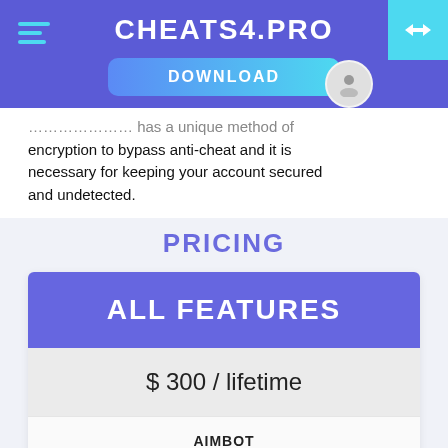CHEATS4.PRO
encryption to bypass anti-cheat and it is necessary for keeping your account secured and undetected.
PRICING
| ALL FEATURES |
| --- |
| $ 300 / lifetime |
| AIMBOT |